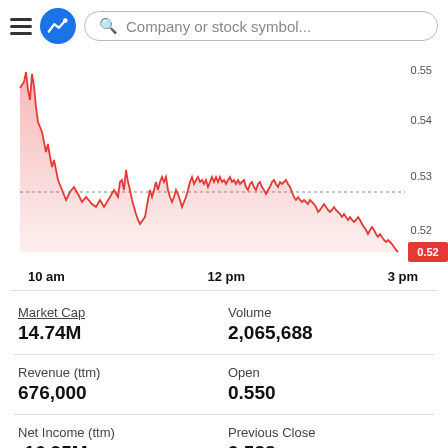[Figure (screenshot): App header with hamburger menu, blue logo icon, and search bar with placeholder 'Company or stock symbol...']
[Figure (area-chart): Red area chart showing intraday stock price declining from ~0.55 at open to 0.52 at close, with a dotted horizontal reference line at ~0.537. Current price label 0.52 shown in red box on right axis.]
| Metric | Value |
| --- | --- |
| Market Cap | 14.74M |
| Revenue (ttm) | 676,000 |
| Net Income (ttm) | -16.95M |
| Volume | 2,065,688 |
| Open | 0.550 |
| Previous Close | 0.538 |